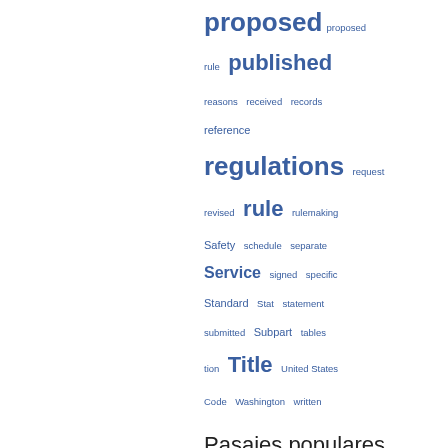[Figure (other): Tag cloud of index terms in blue, various font sizes indicating frequency. Terms include: proposed, proposed, rule, published, reasons, received, records, reference, regulations, request, revised, rule, rulemaking, Safety, schedule, separate, Service, signed, specific, Standard, Stat, statement, submitted, Subpart, tables, tion, Title, United States Code, Washington, written]
Pasajes populares
Página 87 - ... (D) substantive rules of general applicability